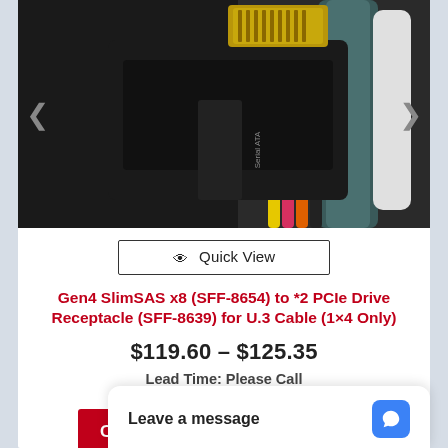[Figure (photo): Close-up photo of a Gen4 SlimSAS cable connector with colorful wires (yellow, pink, orange, black) and a 'Serial ATA' labeled connector, on a dark background.]
Quick View
Gen4 SlimSAS x8 (SFF-8654) to *2 PCIe Drive Receptacle (SFF-8639) for U.3 Cable (1×4 Only)
$119.60 – $125.35
Lead Time: Please Call
Choose an option
Leave a message